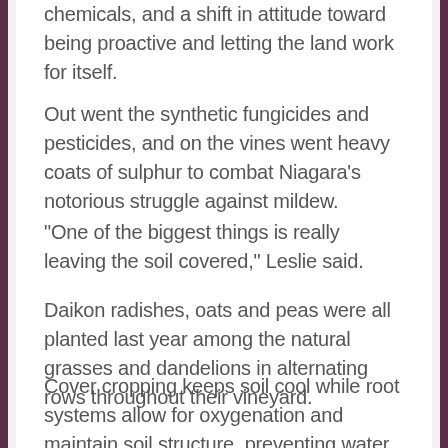chemicals, and a shift in attitude toward being proactive and letting the land work for itself.
Out went the synthetic fungicides and pesticides, and on the vines went heavy coats of sulphur to combat Niagara's notorious struggle against mildew.
“One of the biggest things is really leaving the soil covered,” Leslie said.
Daikon radishes, oats and peas were all planted last year among the natural grasses and dandelions in alternating rows throughout their vineyard.
Cover cropping keeps soil cool while root systems allow for oxygenation and maintain soil structure, preventing water run-off and erosion.